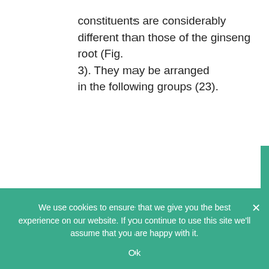constituents are considerably different than those of the ginseng root (Fig. 3). They may be arranged in the following groups (23).
1. Phenyl propane compounds: syringin = eleutheroside B, sinapin alcohol, coniferyl aldehyde, chlorogenic acid, caffeic acid derivatives.
We use cookies to ensure that we give you the best experience on our website. If you continue to use this site we'll assume that you are happy with it.